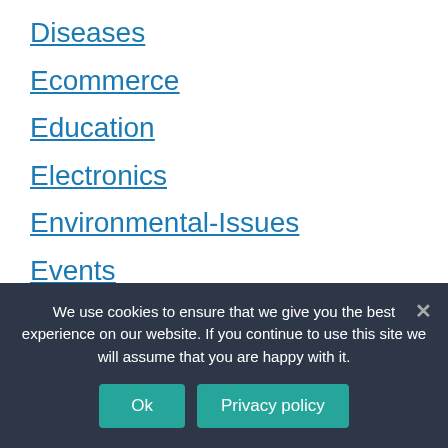Diseases
Ecommerce
Education
Electronics
Environmental-Issues
Events
Exercise
Extreme Sports
Eyes-Vision
Fashion-Style (partial)
We use cookies to ensure that we give you the best experience on our website. If you continue to use this site we will assume that you are happy with it.